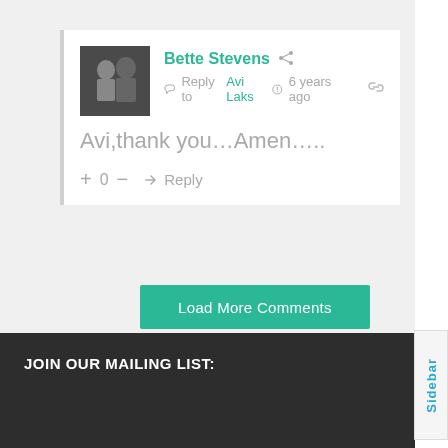Bette Stevens · Reply to Avi Laks · 6 years ago
Avi,thank you...Amen.....
+ 0 − Reply
Load More Comments
JOIN OUR MAILING LIST: